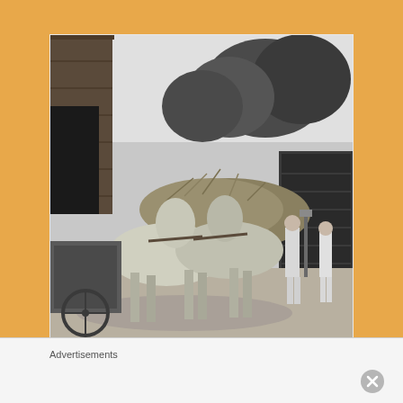[Figure (photo): Black and white photograph of two draft horses harnessed together, loaded with hay, standing in front of a barn. Two men stand in the background on a dirt road, with trees visible behind the barn. Photo dated 1948.]
Erwin's father, Edwin (on load of hay in 1948) knew how to drive a team of horses. He soon found, though, that cars were a
Advertisements